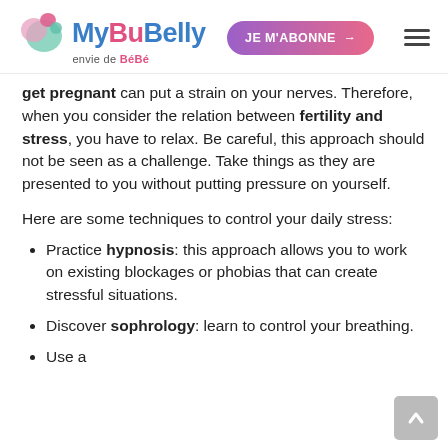[Figure (logo): MyBuBelly logo with colorful bubbles graphic, tagline 'envie de BéBé']
get pregnant can put a strain on your nerves. Therefore, when you consider the relation between fertility and stress, you have to relax. Be careful, this approach should not be seen as a challenge. Take things as they are presented to you without putting pressure on yourself.
Here are some techniques to control your daily stress:
Practice hypnosis: this approach allows you to work on existing blockages or phobias that can create stressful situations.
Discover sophrology: learn to control your breathing.
(partially visible list item continues below)